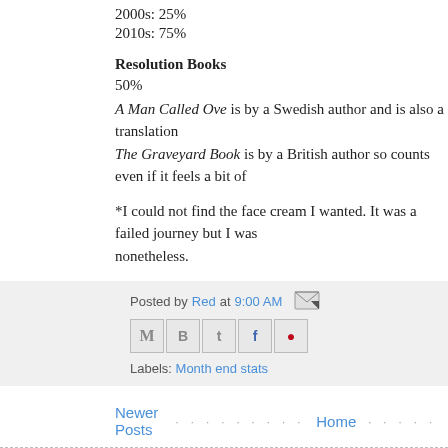2000s: 25%
2010s: 75%
Resolution Books
50%
A Man Called Ove is by a Swedish author and is also a translation
The Graveyard Book is by a British author so counts even if it feels a bit of
*I could not find the face cream I wanted. It was a failed journey but I was nonetheless.
Posted by Red at 9:00 AM
Labels: Month end stats
Newer Posts  Home  Subscribe to: Posts (Atom)